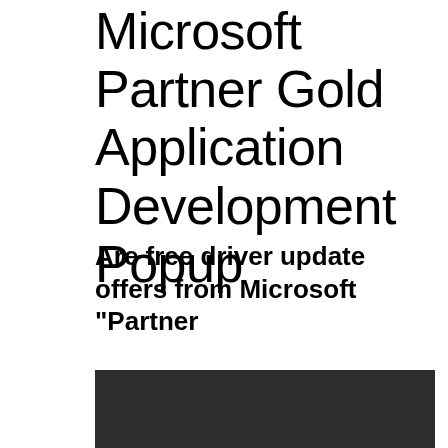Microsoft Partner Gold Application Development Popup
Are free driver update offers from Microsoft "Partner
[Figure (screenshot): Dark/black rectangular area representing a screenshot or popup window, mostly cut off at the bottom of the page]